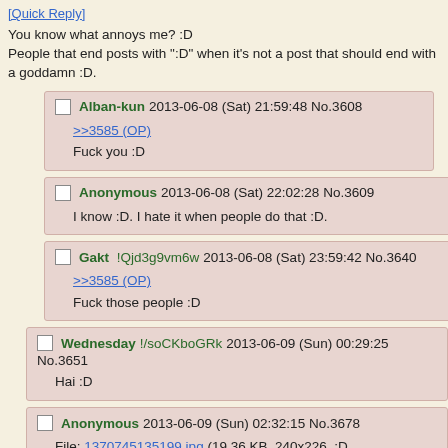[Quick Reply]
You know what annoys me? :D
People that end posts with ":D" when it's not a post that should end with a goddamn :D.
Alban-kun 2013-06-08 (Sat) 21:59:48 No.3608
>>3585 (OP)
Fuck you :D
Anonymous 2013-06-08 (Sat) 22:02:28 No.3609
I know :D. I hate it when people do that :D.
Gakt !Qjd3g9vm6w 2013-06-08 (Sat) 23:59:42 No.3640
>>3585 (OP)
Fuck those people :D
Wednesday!/soCKboGRk 2013-06-09 (Sun) 00:29:25 No.3651
Hai :D
Anonymous 2013-06-09 (Sun) 02:32:15 No.3678
File: 1370745135199.jpg (19.36 KB, 240x226, :D 1369520062318.jpg)